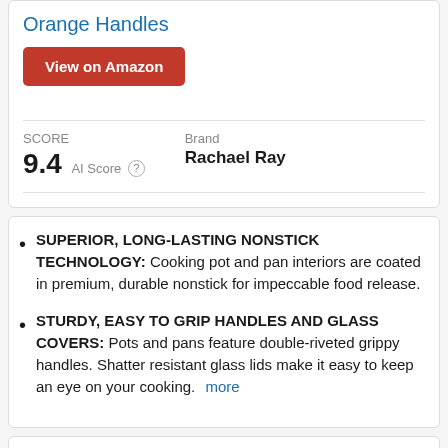Orange Handles
View on Amazon
SCORE 9.4 AI Score  Brand Rachael Ray
SUPERIOR, LONG-LASTING NONSTICK TECHNOLOGY: Cooking pot and pan interiors are coated in premium, durable nonstick for impeccable food release.
STURDY, EASY TO GRIP HANDLES AND GLASS COVERS: Pots and pans feature double-riveted grippy handles. Shatter resistant glass lids make it easy to keep an eye on your cooking. more